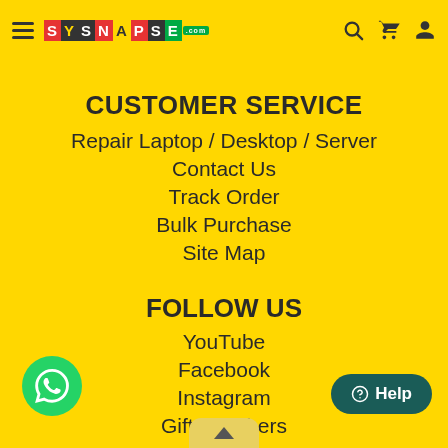[Figure (logo): Sysnapse.com logo with colored letter tiles in red, dark, and green]
CUSTOMER SERVICE
Repair Laptop / Desktop / Server
Contact Us
Track Order
Bulk Purchase
Site Map
FOLLOW US
YouTube
Facebook
Instagram
Gift Vouchers